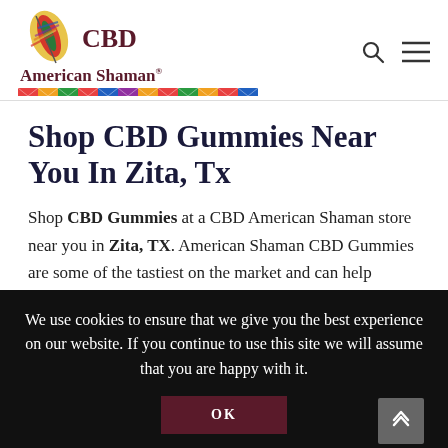CBD American Shaman
Shop CBD Gummies Near You In Zita, Tx
Shop CBD Gummies at a CBD American Shaman store near you in Zita, TX. American Shaman CBD Gummies are some of the tastiest on the market and can help manage everyday stress and support your body in many ways. If
We use cookies to ensure that we give you the best experience on our website. If you continue to use this site we will assume that you are happy with it.
OK